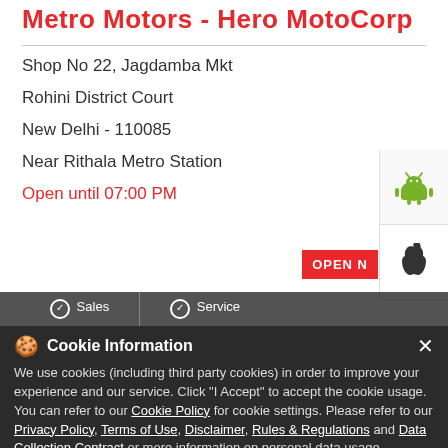Metro Motors - Hero MotoCorp
Shop No 22, Jagdamba Mkt
Rohini District Court
New Delhi - 110085
Near Rithala Metro Station
Open until 07:00 PM
OPEN N...
Sales   Service
Cookie Information
We use cookies (including third party cookies) in order to improve your experience and our service. Click "I Accept" to accept the cookie usage. You can refer to our Cookie Policy for cookie settings. Please refer to our Privacy Policy, Terms of Use, Disclaimer, Rules & Regulations and Data Collection Contract or more information on personal data usage.
I ACCEPT